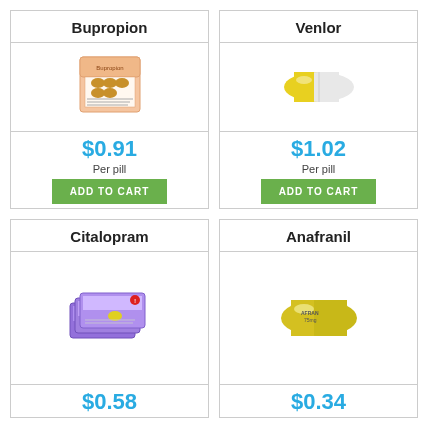Bupropion
[Figure (illustration): Bupropion pill package illustration]
$0.91
Per pill
ADD TO CART
Venlor
[Figure (illustration): Yellow and white capsule pill illustration]
$1.02
Per pill
ADD TO CART
Citalopram
[Figure (illustration): Citalopram pill blister pack boxes illustration]
$0.58
Anafranil
[Figure (illustration): Yellow Anafranil 75mg capsule illustration]
$0.34